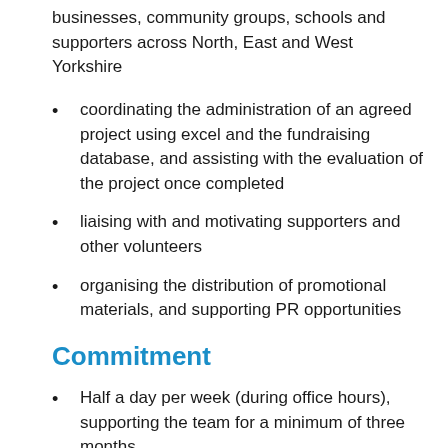businesses, community groups, schools and supporters across North, East and West Yorkshire
coordinating the administration of an agreed project using excel and the fundraising database, and assisting with the evaluation of the project once completed
liaising with and motivating supporters and other volunteers
organising the distribution of promotional materials, and supporting PR opportunities
Commitment
Half a day per week (during office hours), supporting the team for a minimum of three months.